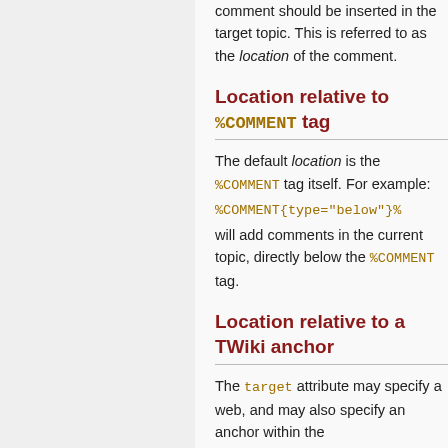comment should be inserted in the target topic. This is referred to as the location of the comment.
Location relative to %COMMENT tag
The default location is the %COMMENT tag itself. For example:
%COMMENT{type="below"}%
will add comments in the current topic, directly below the %COMMENT tag.
Location relative to a TWiki anchor
The target attribute may specify a web, and may also specify an anchor within the